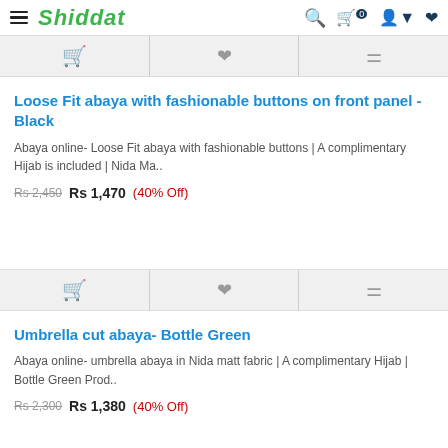Shiddat — navigation bar with logo, search, cart, user, wishlist icons
[Figure (screenshot): Action bar with cart, heart/wishlist, and filter icons]
Loose Fit abaya with fashionable buttons on front panel - Black
Abaya online- Loose Fit abaya with fashionable buttons | A complimentary Hijab is included | Nida Ma..
Rs 2,450  Rs 1,470  (40% Off)
[Figure (screenshot): Action bar with cart, heart/wishlist, and filter icons]
Umbrella cut abaya- Bottle Green
Abaya online- umbrella abaya in Nida matt fabric | A complimentary Hijab | Bottle Green Prod..
Rs 2,300  Rs 1,380  (40% Off)